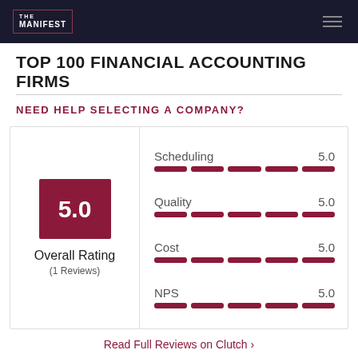THE MANIFEST
TOP 100 FINANCIAL ACCOUNTING FIRMS
NEED HELP SELECTING A COMPANY?
[Figure (infographic): Rating card showing overall rating of 5.0 (1 Reviews) with four sub-metrics: Scheduling 5.0, Quality 5.0, Cost 5.0, NPS 5.0, each with a full 5-segment bar.]
Read Full Reviews on Clutch ›